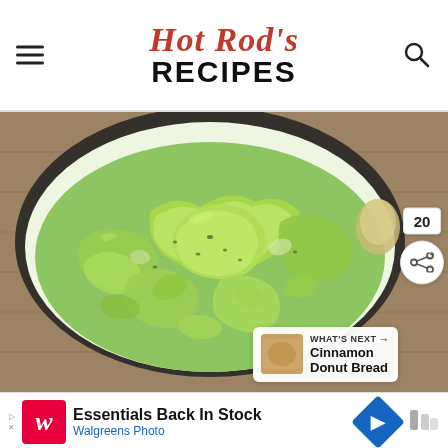Hot Rod's RECIPES
[Figure (photo): Overhead close-up view of chunky guacamole in a white bowl with dark rim, set on a wooden surface. The guacamole shows large avocado chunks with visible herbs mixed in.]
20
WHAT'S NEXT → Cinnamon Donut Bread
Essentials Back In Stock Walgreens Photo